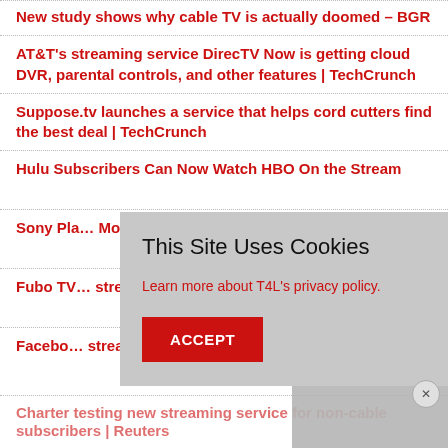New study shows why cable TV is actually doomed – BGR
AT&T's streaming service DirecTV Now is getting cloud DVR, parental controls, and other features | TechCrunch
Suppose.tv launches a service that helps cord cutters find the best deal | TechCrunch
Hulu Subscribers Can Now Watch HBO On the Stream
Sony Pl... More Ex...
Fubo TV... stream...
Facebo... stream...
[Figure (screenshot): Cookie consent modal overlay with title 'This Site Uses Cookies', text 'Learn more about T4L's privacy policy.', and an ACCEPT button]
Charter testing new streaming service for non-cable subscribers | Reuters